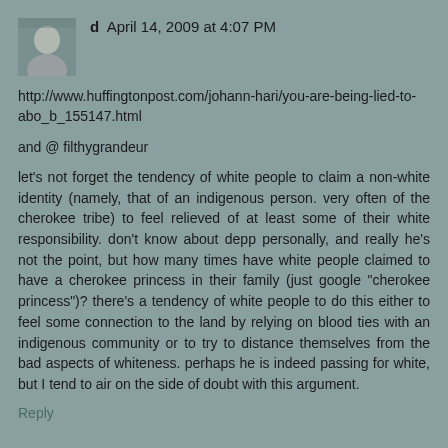d  April 14, 2009 at 4:07 PM
http://www.huffingtonpost.com/johann-hari/you-are-being-lied-to-abo_b_155147.html
and @ filthygrandeur
let's not forget the tendency of white people to claim a non-white identity (namely, that of an indigenous person. very often of the cherokee tribe) to feel relieved of at least some of their white responsibility. don't know about depp personally, and really he's not the point, but how many times have white people claimed to have a cherokee princess in their family (just google "cherokee princess")? there's a tendency of white people to do this either to feel some connection to the land by relying on blood ties with an indigenous community or to try to distance themselves from the bad aspects of whiteness. perhaps he is indeed passing for white, but I tend to air on the side of doubt with this argument.
Reply